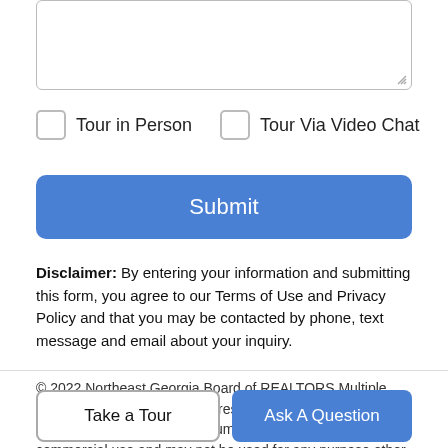[Figure (screenshot): Text area input box with resize handle in bottom-right corner]
Tour in Person
Tour Via Video Chat
Submit
Disclaimer: By entering your information and submitting this form, you agree to our Terms of Use and Privacy Policy and that you may be contacted by phone, text message and email about your inquiry.
© 2022 Northeast Georgia Board of REALTORS Multiple Listing Service, Inc. All rights reserved. IDX information is provided exclusively for consumers' personal, non-commercial use and may not be used for any purpose other than to identify prospective
Take a Tour
Ask A Question